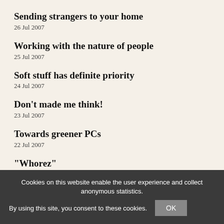Sending strangers to your home
26 Jul 2007
Working with the nature of people
25 Jul 2007
Soft stuff has definite priority
24 Jul 2007
Don't made me think!
23 Jul 2007
Towards greener PCs
22 Jul 2007
"Whorez"
19 Jul 2007
Terrorism - principles are more effective than rules
18 Jul 2007
Cookies on this website enable the user experience and collect anonymous statistics.
By using this site, you consent to these cookies.